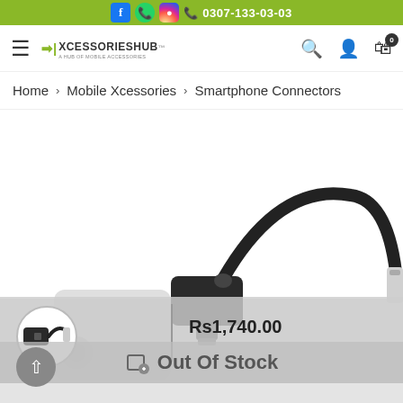0307-133-03-03
[Figure (logo): XcessoriesHub logo with tagline A HUB OF MOBILE ACCESSORIES]
Home > Mobile Xcessories > Smartphone Connectors
[Figure (photo): Black USB Type-C to 3.5mm audio jack adapter cable, showing the connector and cable looping back]
Rs1,740.00
Out Of Stock